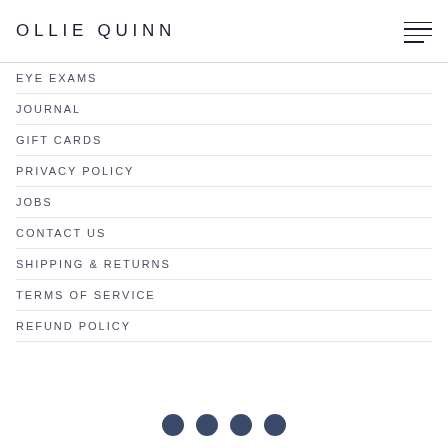OLLIE QUINN
EYE EXAMS
JOURNAL
GIFT CARDS
PRIVACY POLICY
JOBS
CONTACT US
SHIPPING & RETURNS
TERMS OF SERVICE
REFUND POLICY
[Figure (illustration): Four circular social media icons in dark navy blue at the bottom of the page]